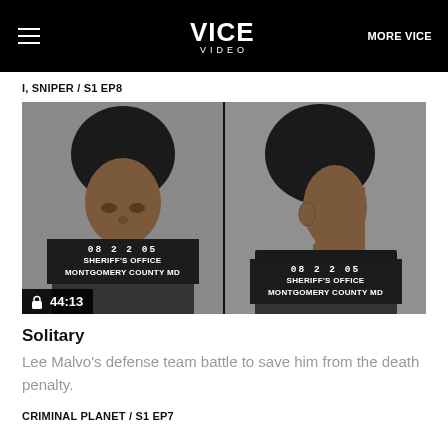VICE VIDEO  MORE VICE
I, SNIPER / S1 EP8
[Figure (photo): Two mugshot photos side by side of Lee Malvo from Montgomery County Sheriff's Office, date 08 22 05, front and side profile views]
Solitary
Lee Malvo's defense team battle to save him from the death penalty.
CRIMINAL PLANET / S1 EP7